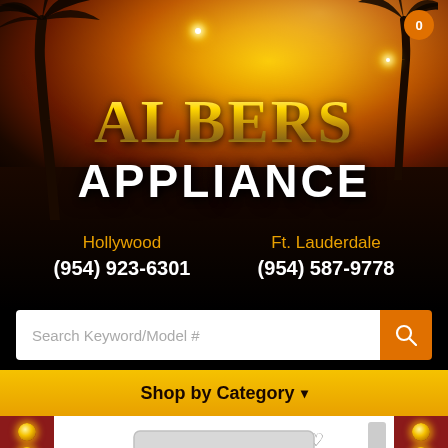[Figure (screenshot): Albers Appliance website header with palm tree silhouette sunset background]
ALBERS APPLIANCE
Hollywood (954) 923-6301
Ft. Lauderdale (954) 587-9778
Shop by Category
[Figure (photo): White top-load washing machine or appliance product image]